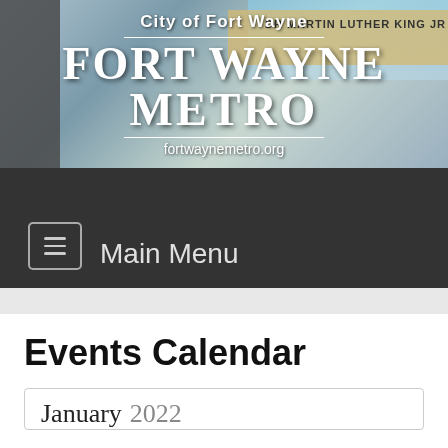[Figure (photo): Header photo of Fort Wayne Metro sign/building with overlaid text showing City of Fort Wayne logo, FORT WAYNE METRO in large serif font, and fortwaynemetro.org website URL]
Main Menu
Events Calendar
January 2022